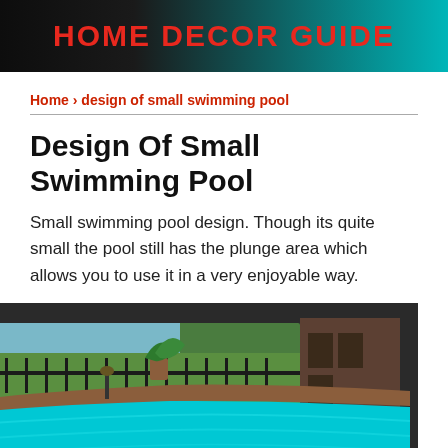HOME DECOR GUIDE
Home › design of small swimming pool
Design Of Small Swimming Pool
Small swimming pool design. Though its quite small the pool still has the plunge area which allows you to use it in a very enjoyable way.
[Figure (photo): Outdoor small swimming pool with blue water, surrounded by brick coping, iron fence, green lawn, trees, and a house exterior. A blue circular scroll-to-top button is visible in the lower right.]